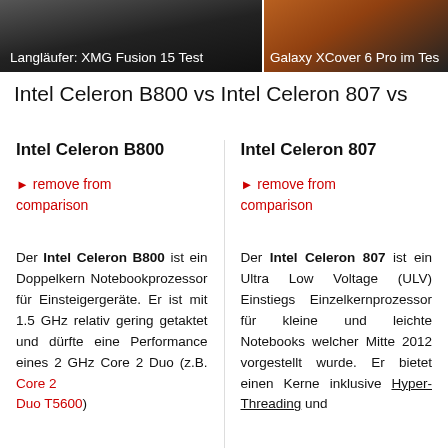Langläufer: XMG Fusion 15 Test | Galaxy XCover 6 Pro im Test
Intel Celeron B800 vs Intel Celeron 807 vs
Intel Celeron B800
► remove from comparison
Der Intel Celeron B800 ist ein Doppelkern Notebookprozessor für Einsteigergeräte. Er ist mit 1.5 GHz relativ gering getaktet und dürfte eine Performance eines 2 GHz Core 2 Duo (z.B. Core 2 Duo T5600)
Intel Celeron 807
► remove from comparison
Der Intel Celeron 807 ist ein Ultra Low Voltage (ULV) Einstiegs Einzelkernprozessor für kleine und leichte Notebooks welcher Mitte 2012 vorgestellt wurde. Er bietet einen Kerne inklusive Hyper-Threading und